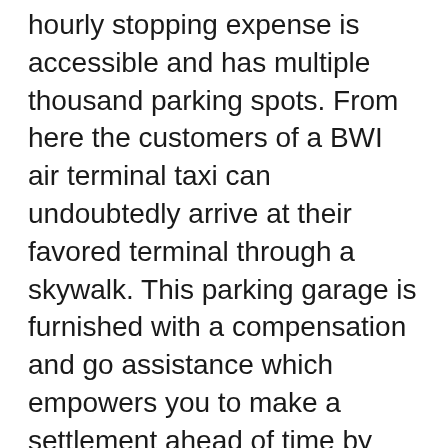hourly stopping expense is accessible and has multiple thousand parking spots. From here the customers of a BWI air terminal taxi can undoubtedly arrive at their favored terminal through a skywalk. This parking garage is furnished with a compensation and go assistance which empowers you to make a settlement ahead of time by means of the different stopping machines that are found at vital areas across all terminals. These machines acknowledge both money and charge cards. When the installment technique is finished you are allowed thirty minutes to return to the vehicle and leave the parking garage. This is regularly a most loved choice for most BWI air terminal taxicabs.